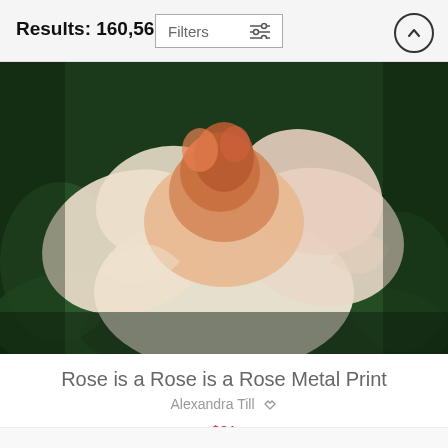Results: 160,561
Filters
[Figure (photo): Close-up photograph of a peach and cream rose flower against a dark green leafy background, displayed as a product image for a metal print]
Rose is a Rose is a Rose Metal Print
Alexandra Till
$81
$65